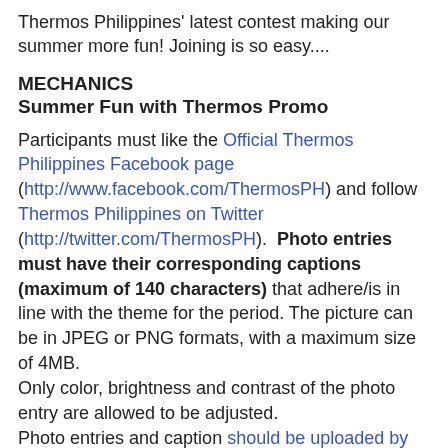Thermos Philippines' latest contest making our summer more fun! Joining is so easy....
MECHANICS
Summer Fun with Thermos Promo
Participants must like the Official Thermos Philippines Facebook page (http://www.facebook.com/ThermosPH) and follow Thermos Philippines on Twitter (http://twitter.com/ThermosPH). Photo entries must have their corresponding captions (maximum of 140 characters) that adhere/is in line with the theme for the period. The picture can be in JPEG or PNG formats, with a maximum size of 4MB. Only color, brightness and contrast of the photo entry are allowed to be adjusted. Photo entries and caption should be uploaded by the participant in the Thermos Philippines Landing Page (http://www.facebook.com/ThermosPH/app_190322544333196) which is supported by Manila Exchange (http://www.manilax.me) website with the following details: